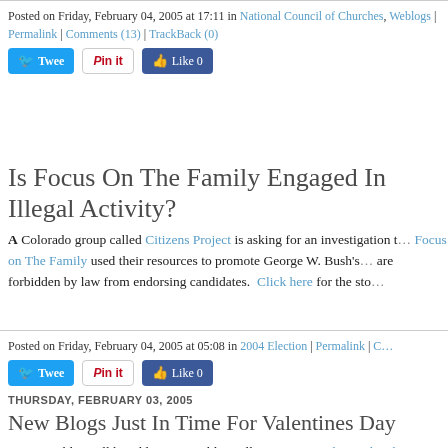Posted on Friday, February 04, 2005 at 17:11 in National Council of Churches, Weblogs | Permalink | Comments (13) | TrackBack (0)
[Figure (screenshot): Social sharing buttons: Tweet, Pin it, Like 0]
Is Focus On The Family Engaged In Illegal Activity?
A Colorado group called Citizens Project is asking for an investigation to see if Focus on The Family used their resources to promote George W. Bush's campaign. Churches are forbidden by law from endorsing candidates. Click here for the story.
Posted on Friday, February 04, 2005 at 05:08 in 2004 Election | Permalink |
[Figure (screenshot): Social sharing buttons: Tweet, Pin it, Like 0]
THURSDAY, FEBRUARY 03, 2005
New Blogs Just In Time For Valentines Day
Two new blogs I'll be adding on my blog roll: Gay Spirituality and Culture independent writers with interests in inner transformation, personal growth culture for the Lesbian, Gay, Bisexual, and Transgender (LGBT) community. Killer Email. With so many good sources to read on the web where do